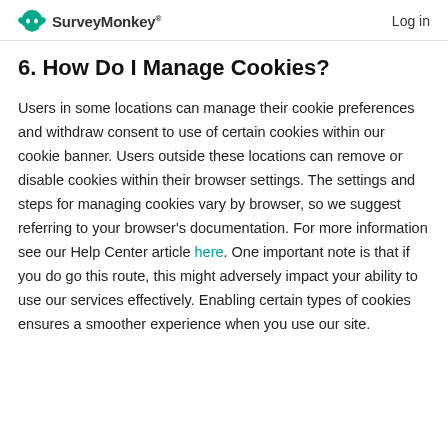SurveyMonkey® | Log in
6. How Do I Manage Cookies?
Users in some locations can manage their cookie preferences and withdraw consent to use of certain cookies within our cookie banner. Users outside these locations can remove or disable cookies within their browser settings. The settings and steps for managing cookies vary by browser, so we suggest referring to your browser's documentation. For more information see our Help Center article here. One important note is that if you do go this route, this might adversely impact your ability to use our services effectively. Enabling certain types of cookies ensures a smoother experience when you use our site.